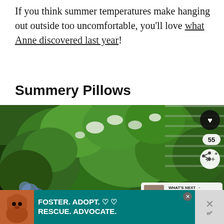If you think summer temperatures make hanging out outside too uncomfortable, you'll love what Anne discovered last year!
Summery Pillows
[Figure (photo): Outdoor garden photo showing lush green hydrangea bushes with white flower clusters and blue flowers visible at lower left, against a white siding wall. Social media overlay icons visible: heart button (black circle), share button, count badge '55', and 'What's Next' panel showing '13 Neutral Christmas...' with thumbnail.]
[Figure (infographic): Advertisement banner: teal/dark cyan background with image of a pit bull dog on the left, bold white text reading 'FOSTER. ADOPT. RESCUE. ADVOCATE.' with heart icons. Close button (X) visible. Secondary gray panel on the right with X and 'w' superscript logo.]